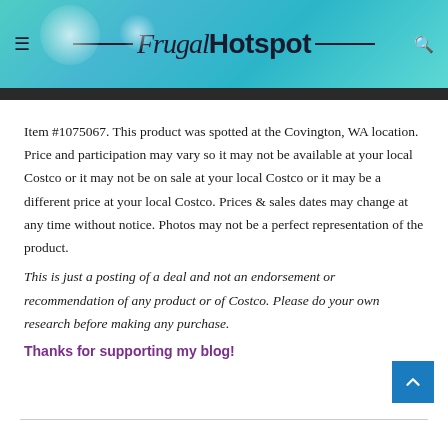Frugal Hotspot
Item #1075067. This product was spotted at the Covington, WA location. Price and participation may vary so it may not be available at your local Costco or it may not be on sale at your local Costco or it may be a different price at your local Costco. Prices & sales dates may change at any time without notice. Photos may not be a perfect representation of the product.
This is just a posting of a deal and not an endorsement or recommendation of any product or of Costco. Please do your own research before making any purchase.
Thanks for supporting my blog!